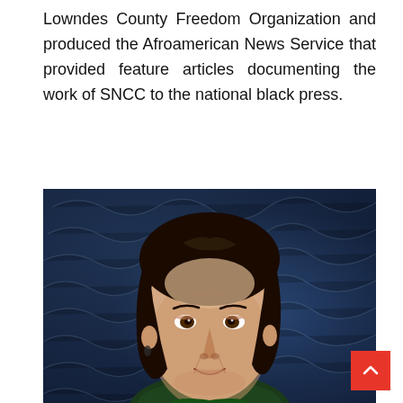Lowndes County Freedom Organization and produced the Afroamerican News Service that provided feature articles documenting the work of SNCC to the national black press.
[Figure (photo): Portrait photo of a woman with dark shoulder-length hair, smiling slightly, against a textured dark blue background.]